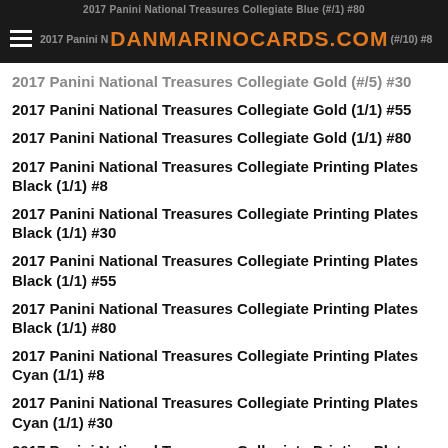DANMARINOCARDS.COM
2017 Panini National Treasures Collegiate Blue (#/1) #80
2017 Panini National Treasures Collegiate Blue (#/10) #8
2017 Panini National Treasures Collegiate Gold (#/5) #30
2017 Panini National Treasures Collegiate Gold (1/1) #55
2017 Panini National Treasures Collegiate Gold (1/1) #80
2017 Panini National Treasures Collegiate Printing Plates Black (1/1) #8
2017 Panini National Treasures Collegiate Printing Plates Black (1/1) #30
2017 Panini National Treasures Collegiate Printing Plates Black (1/1) #55
2017 Panini National Treasures Collegiate Printing Plates Black (1/1) #80
2017 Panini National Treasures Collegiate Printing Plates Cyan (1/1) #8
2017 Panini National Treasures Collegiate Printing Plates Cyan (1/1) #30
2017 Panini National Treasures Collegiate Printing Plates Cyan (1/1) #55